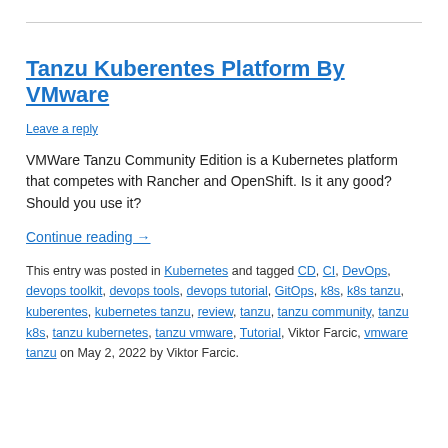Tanzu Kuberentes Platform By VMware
Leave a reply
VMWare Tanzu Community Edition is a Kubernetes platform that competes with Rancher and OpenShift. Is it any good? Should you use it?
Continue reading →
This entry was posted in Kubernetes and tagged CD, CI, DevOps, devops toolkit, devops tools, devops tutorial, GitOps, k8s, k8s tanzu, kuberentes, kubernetes tanzu, review, tanzu, tanzu community, tanzu k8s, tanzu kubernetes, tanzu vmware, Tutorial, Viktor Farcic, vmware tanzu on May 2, 2022 by Viktor Farcic.